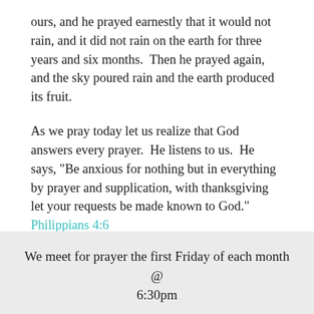ours, and he prayed earnestly that it would not rain, and it did not rain on the earth for three years and six months.  Then he prayed again, and the sky poured rain and the earth produced its fruit.
As we pray today let us realize that God answers every prayer.  He listens to us.  He says, "Be anxious for nothing but in everything by prayer and supplication, with thanksgiving let your requests be made known to God."  Philippians 4:6
We meet for prayer the first Friday of each month @ 6:30pm